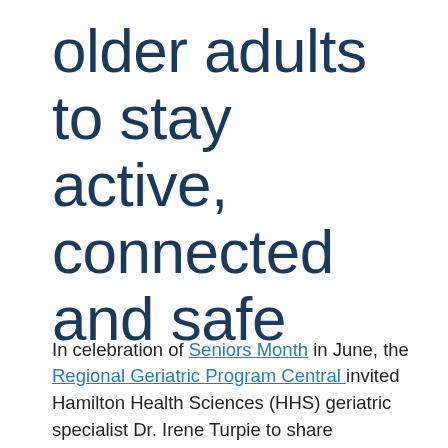older adults to stay active, connected and safe
In celebration of Seniors Month in June, the Regional Geriatric Program Central invited Hamilton Health Sciences (HHS) geriatric specialist Dr. Irene Turpie to share recommendations for healthy aging.
Turpie also happens to be an older adult, and